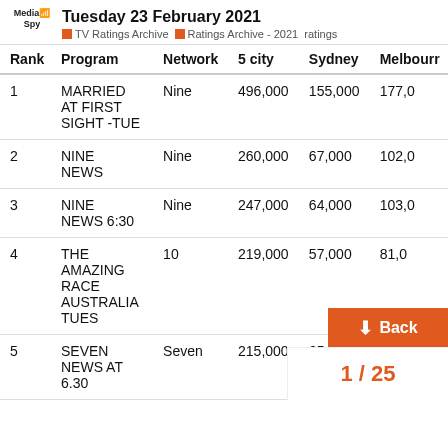Tuesday 23 February 2021 | TV Ratings Archive | Ratings Archive - 2021 ratings
| Rank | Program | Network | 5 city | Sydney | Melbourr |
| --- | --- | --- | --- | --- | --- |
| 1 | MARRIED AT FIRST SIGHT -TUE | Nine | 496,000 | 155,000 | 177,0 |
| 2 | NINE NEWS | Nine | 260,000 | 67,000 | 102,0 |
| 3 | NINE NEWS 6:30 | Nine | 247,000 | 64,000 | 103,0 |
| 4 | THE AMAZING RACE AUSTRALIA TUES | 10 | 219,000 | 57,000 | 81,0 |
| 5 | SEVEN NEWS AT 6.30 | Seven | 215,000 | 65,000 | 54,0 |